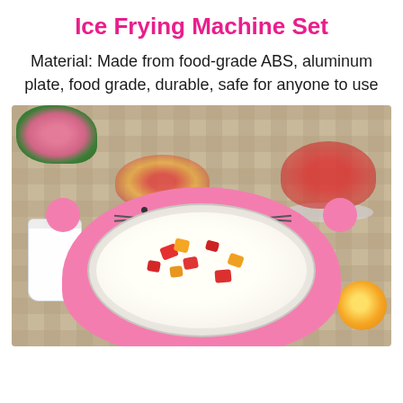Ice Frying Machine Set
Material: Made from food-grade ABS, aluminum plate, food grade, durable, safe for anyone to use
[Figure (photo): Photo of a pink cat-shaped ice frying machine on a checkered tablecloth, filled with frozen yogurt topped with strawberry and orange pieces. Surrounded by a glass of milk, a bowl of mixed fruits (strawberries and orange slices), a bowl of strawberries, pink flowers, and an orange half.]